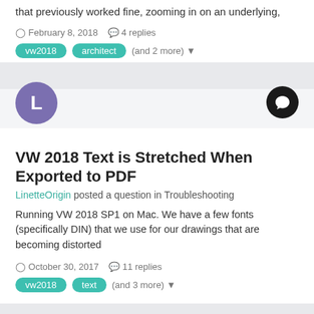that previously worked fine, zooming in on an underlying,
February 8, 2018   4 replies
vw2018   architect   (and 2 more)
VW 2018 Text is Stretched When Exported to PDF
LinetteOrigin posted a question in Troubleshooting
Running VW 2018 SP1 on Mac. We have a few fonts (specifically DIN) that we use for our drawings that are becoming distorted
October 30, 2017   11 replies
vw2018   text   (and 3 more)